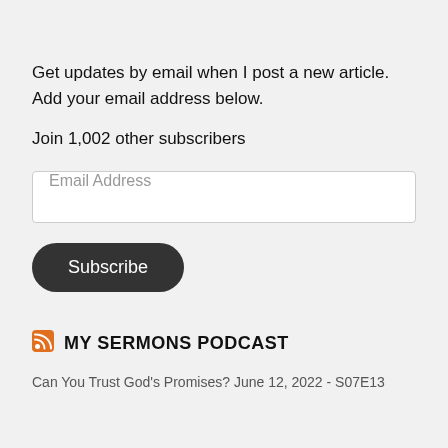Get updates by email when I post a new article. Add your email address below.
Join 1,002 other subscribers
Email Address
Subscribe
MY SERMONS PODCAST
Can You Trust God's Promises? June 12, 2022 - S07E13